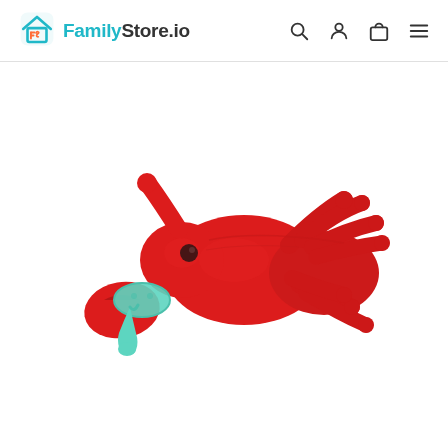FamilyStore.io
[Figure (photo): A red plush lobster stuffed animal toy with a teal/mint green baby pacifier attached to its mouth area. The lobster has multiple legs spread out, a black eye, and large claws. The pacifier has a round shield and nipple in translucent mint green color.]